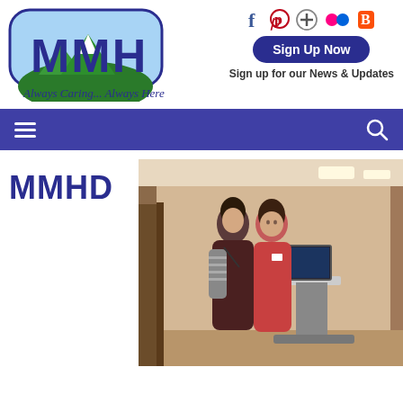[Figure (logo): MMH hospital logo with mountain scenery and 'Always Caring... Always Here.' tagline]
[Figure (screenshot): Social media icons: Facebook, Pinterest, Google+, Flickr, Blogger]
Sign Up Now
Sign up for our News & Updates
[Figure (infographic): Navigation bar with hamburger menu icon on left and search icon on right, purple background]
MMHD
[Figure (photo): Two female nurses/medical staff in scrubs looking at a computer workstation in a hospital hallway]